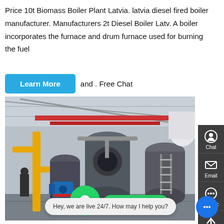Price 10t Biomass Boiler Plant Latvia. latvia diesel fired boiler manufacturer. Manufacturers 2t Diesel Boiler Latv. A boiler incorporates the furnace and drum furnace used for burning the fuel and . Free Chat
[Figure (photo): Industrial boiler plant interior showing large cylindrical boilers, yellow pipes, red overhead beams, blue motor equipment, and metal staircases in a factory setting.]
Boiler 225 Pound Pressure 15 Ton - Kancelaria-Czekala.Pl
10t oil fired Boiler manufacturers 10t boiler energy saving azerbaijan. 10t Boiler Agent